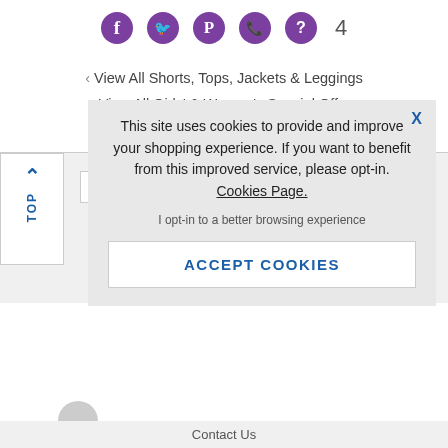[Figure (infographic): Row of purple social media icons (Facebook, Twitter, Pinterest, WhatsApp, unknown) and share count '4']
View All Shorts, Tops, Jackets & Leggings
View All Girls' & Women's Special Offers
View All Accessories
Enter E...
To see how...
This site uses cookies to provide and improve your shopping experience. If you want to benefit from this improved service, please opt-in. Cookies Page.
I opt-in to a better browsing experience
ACCEPT COOKIES
Contact Us